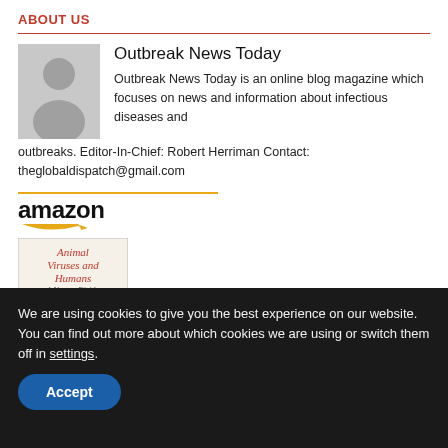ABOUT US
Outbreak News Today
Outbreak News Today is an online blog magazine which focuses on news and information about infectious diseases and outbreaks. Editor-In-Chief: Robert Herriman Contact: theglobaldispatch@gmail.com
[Figure (logo): Amazon logo with orange arrow beneath, above a book advertisement for 'Animal Viruses and Humans: A Narrow Divide' by Warren A. Andiman]
We are using cookies to give you the best experience on our website. You can find out more about which cookies we are using or switch them off in settings.
Accept